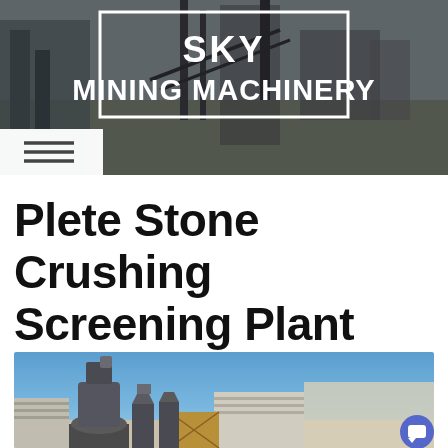[Figure (screenshot): Sky Mining Machinery website header banner with logo in white bordered box on industrial mining site background photo]
Plete Stone Crushing Screening Plant
[Figure (photo): Outdoor industrial stone crushing and screening plant equipment including large gray mill/grinder, conveyor structures, and stacked stone slabs under blue sky]